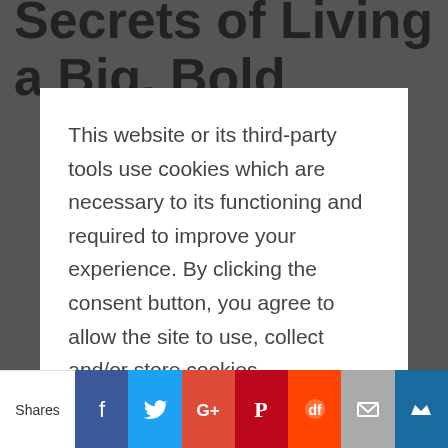Secrets of Living a Big, Bold...
This website or its third-party tools use cookies which are necessary to its functioning and required to improve your experience. By clicking the consent button, you agree to allow the site to use, collect and/or store cookies.
Hear ye, hear ye, I've got two FREE live events coming up that you should know about, plus some secrets:
1) Live Event #1...
Shares